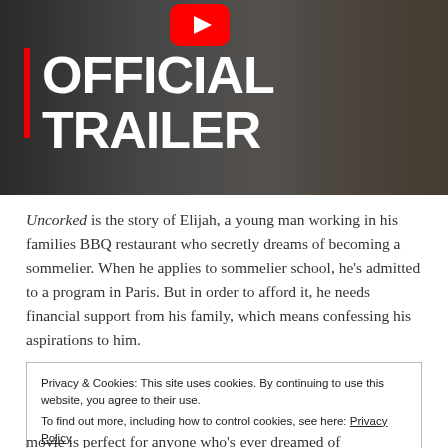[Figure (screenshot): YouTube video thumbnail showing people in dark aprons in a kitchen/BBQ restaurant setting, with bold white text 'OFFICIAL TRAILER' and a red vertical bar on the left, and YouTube logo at top]
Uncorked is the story of Elijah, a young man working in his families BBQ restaurant who secretly dreams of becoming a sommelier. When he applies to sommelier school, he's admitted to a program in Paris. But in order to afford it, he needs financial support from his family, which means confessing his aspirations to him.
Privacy & Cookies: This site uses cookies. By continuing to use this website, you agree to their use.
To find out more, including how to control cookies, see here: Privacy Policy
movie is perfect for anyone who's ever dreamed of